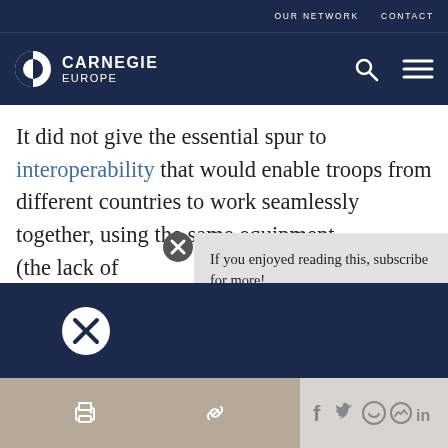OUR NETWORK   CONTACT
[Figure (logo): Carnegie Europe logo — half-circle icon with CARNEGIE EUROPE text in white on dark navy header bar]
It did not give the essential spur to interoperability that would enable troops from different countries to work seamlessly together, using the same equipment (the lack of
If you enjoyed reading this, subscribe for more!
Enter email address
Submit